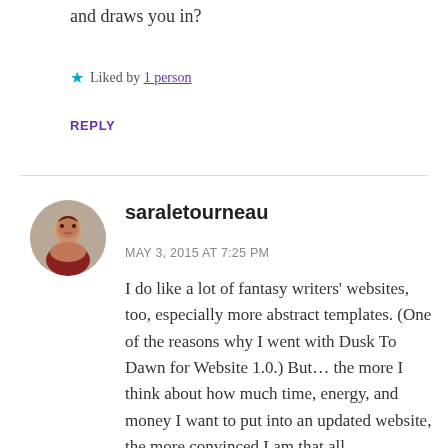and draws you in?
★ Liked by 1 person
REPLY
saraletourneau
MAY 3, 2015 AT 7:25 PM
I do like a lot of fantasy writers' websites, too, especially more abstract templates. (One of the reasons why I went with Dusk To Dawn for Website 1.0.) But… the more I think about how much time, energy, and money I want to put into an updated website, the more convinced I am that all